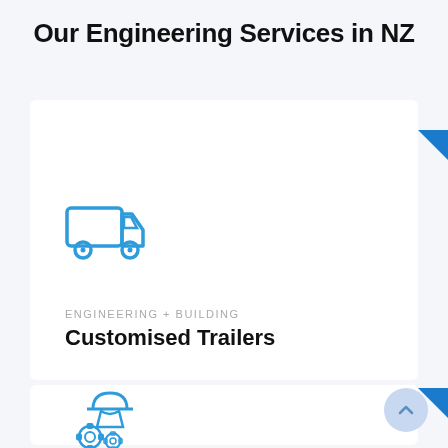Our Engineering Services in NZ
[Figure (illustration): Blue outline icon of a delivery truck]
ENGINEERING + BUILDING
Customised Trailers
[Figure (illustration): Blue outline icon of a worker with helmet and gears]
[Figure (other): Scroll-to-top circular button with upward chevron arrow]